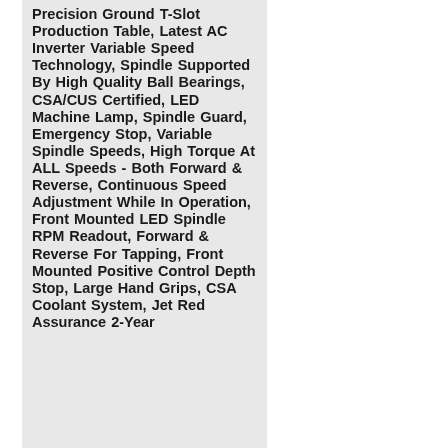Precision Ground T-Slot Production Table, Latest AC Inverter Variable Speed Technology, Spindle Supported By High Quality Ball Bearings, CSA/CUS Certified, LED Machine Lamp, Spindle Guard, Emergency Stop, Variable Spindle Speeds, High Torque At ALL Speeds - Both Forward & Reverse, Continuous Speed Adjustment While In Operation, Front Mounted LED Spindle RPM Readout, Forward & Reverse For Tapping, Front Mounted Positive Control Depth Stop, Large Hand Grips, CSA Coolant System, Jet Red Assurance 2-Year